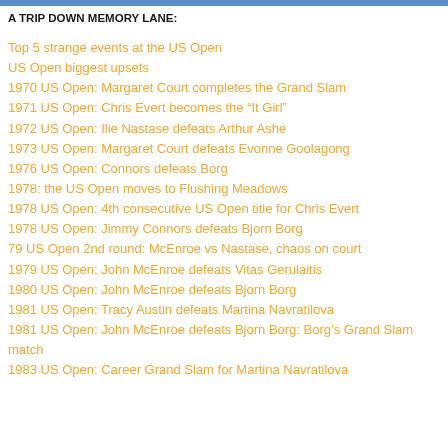A TRIP DOWN MEMORY LANE:
Top 5 strange events at the US Open
US Open biggest upsets
1970 US Open: Margaret Court completes the Grand Slam
1971 US Open: Chris Evert becomes the “It Girl”
1972 US Open: Ilie Nastase defeats Arthur Ashe
1973 US Open: Margaret Court defeats Evonne Goolagong
1976 US Open: Connors defeats Borg
1978: the US Open moves to Flushing Meadows
1978 US Open: 4th consecutive US Open title for Chris Evert
1978 US Open: Jimmy Connors defeats Bjorn Borg
79 US Open 2nd round: McEnroe vs Nastase, chaos on court
1979 US Open: John McEnroe defeats Vitas Gerulaitis
1980 US Open: John McEnroe defeats Bjorn Borg
1981 US Open: Tracy Austin defeats Martina Navratilova
1981 US Open: John McEnroe defeats Bjorn Borg: Borg’s Grand Slam match
1983 US Open: Career Grand Slam for Martina Navratilova